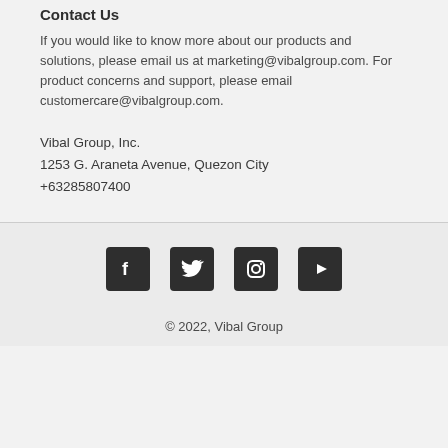Contact Us
If you would like to know more about our products and solutions, please email us at marketing@vibalgroup.com. For product concerns and support, please email customercare@vibalgroup.com.
Vibal Group, Inc.
1253 G. Araneta Avenue, Quezon City
+63285807400
[Figure (infographic): Social media icons: Facebook, Twitter, Instagram, YouTube]
© 2022, Vibal Group